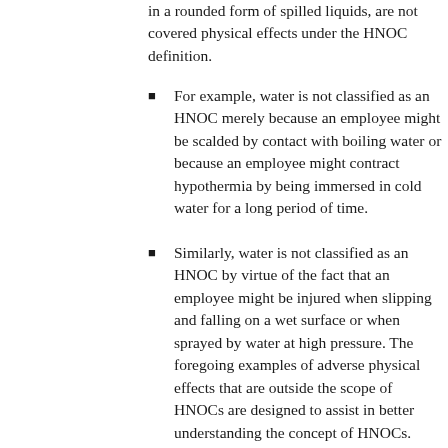in a rounded form of spilled liquids, are not covered physical effects under the HNOC definition.
For example, water is not classified as an HNOC merely because an employee might be scalded by contact with boiling water or because an employee might contract hypothermia by being immersed in cold water for a long period of time.
Similarly, water is not classified as an HNOC by virtue of the fact that an employee might be injured when slipping and falling on a wet surface or when sprayed by water at high pressure. The foregoing examples of adverse physical effects that are outside the scope of HNOCs are designed to assist in better understanding the concept of HNOCs. They are not intended to be exhaustive or limited to chemicals, such as